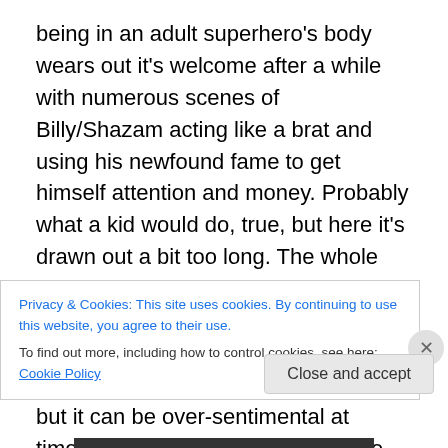being in an adult superhero's body wears out it's welcome after a while with numerous scenes of Billy/Shazam acting like a brat and using his newfound fame to get himself attention and money. Probably what a kid would do, true, but here it's drawn out a bit too long. The whole film could have been a bit tighter and wouldn't have missed about ten minutes or so removed. There are some fun bits and the flick has heart, but it can be over-sentimental at times, too and really goes for all the clichés about trust and family, though superhero flicks in particular can get away with being cliché. It's oddly one of the things endearing
Privacy & Cookies: This site uses cookies. By continuing to use this website, you agree to their use.
To find out more, including how to control cookies, see here: Cookie Policy